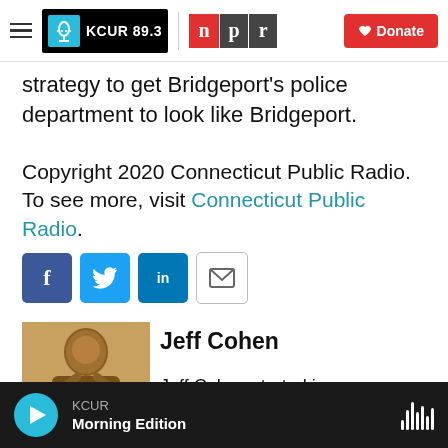KCUR 89.3 | NPR | Donate
strategy to get Bridgeport's police department to look like Bridgeport.
Copyright 2020 Connecticut Public Radio. To see more, visit Connecticut Public Radio.
[Figure (infographic): Social share buttons: Facebook, Twitter, LinkedIn, Email]
[Figure (photo): Photo of Jeff Cohen speaking or presenting, warm brown lighting]
Jeff Cohen
Jeff Cohen started in newspapers in 2001 and joined Connecticut Public in 2010,
KCUR Morning Edition